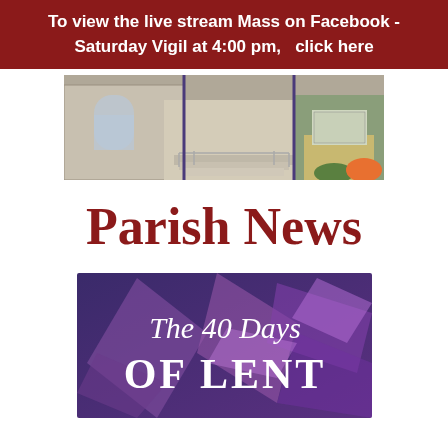To view the live stream Mass on Facebook - Saturday Vigil at 4:00 pm,  click here
[Figure (photo): Exterior photo of a parish church building with stone facade and entrance steps]
Parish News
[Figure (illustration): Graphic banner reading 'The 40 Days OF LENT' with purple geometric background]